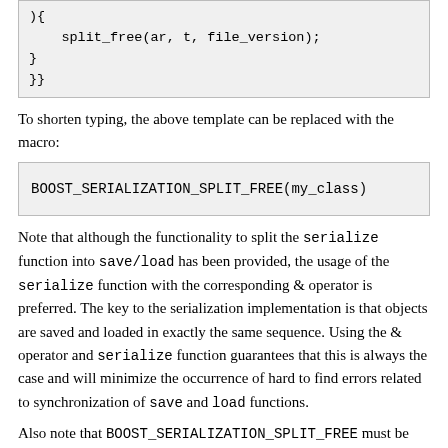[Figure (other): Code snippet showing split_free(ar, t, file_version); followed by closing braces } and }}]
To shorten typing, the above template can be replaced with the macro:
[Figure (other): Code block showing: BOOST_SERIALIZATION_SPLIT_FREE(my_class)]
Note that although the functionality to split the serialize function into save/load has been provided, the usage of the serialize function with the corresponding & operator is preferred. The key to the serialization implementation is that objects are saved and loaded in exactly the same sequence. Using the & operator and serialize function guarantees that this is always the case and will minimize the occurrence of hard to find errors related to synchronization of save and load functions.
Also note that BOOST_SERIALIZATION_SPLIT_FREE must be used outside of any namespace.
Pointers